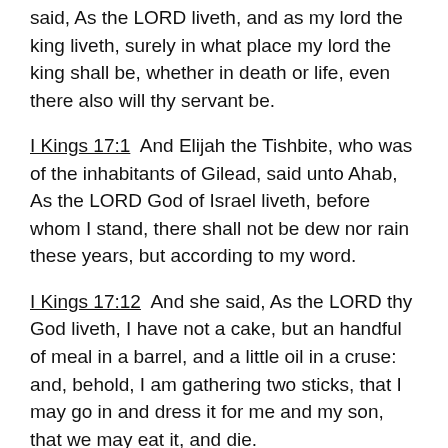said, As the LORD liveth, and as my lord the king liveth, surely in what place my lord the king shall be, whether in death or life, even there also will thy servant be.
I Kings 17:1  And Elijah the Tishbite, who was of the inhabitants of Gilead, said unto Ahab, As the LORD God of Israel liveth, before whom I stand, there shall not be dew nor rain these years, but according to my word.
I Kings 17:12  And she said, As the LORD thy God liveth, I have not a cake, but an handful of meal in a barrel, and a little oil in a cruse: and, behold, I am gathering two sticks, that I may go in and dress it for me and my son, that we may eat it, and die.
II Kings 2:2  And Elijah said unto Elisha, Tarry here, I pray thee; for the LORD hath sent me to Bethel. And